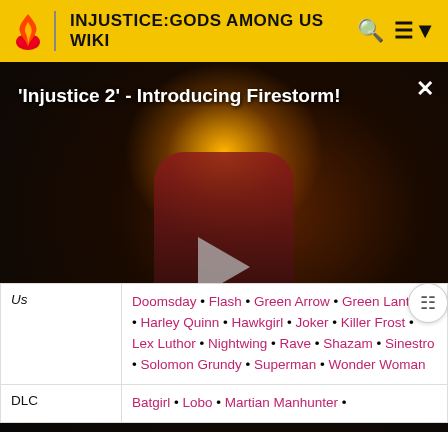INJUSTICE:GODS AMONG US WIKI
[Figure (screenshot): Video player showing 'Injustice 2' - Introducing Firestorm! with a dark armored character with fire glow, play button overlay, and NaN:NaN timer]
| Us | Doomsday • Flash • Green Arrow • Green Lantern • Harley Quinn • Hawkgirl • Joker • Killer Frost • Lex Luthor • Nightwing • Raven • Shazam • Sinestro • Solomon Grundy • Superman • Wonder Woman |
| DLC | Batgirl • Lobo • Martian Manhunter • |